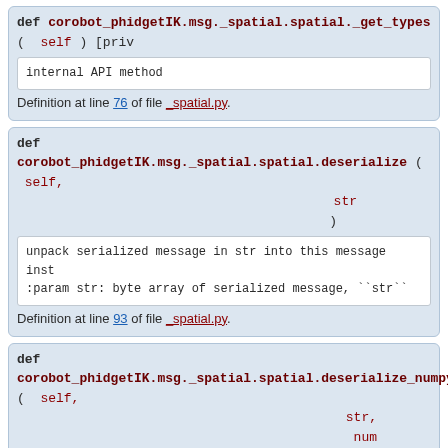def corobot_phidgetIK.msg._spatial.spatial._get_types ( self ) [priv
internal API method
Definition at line 76 of file _spatial.py.
def corobot_phidgetIK.msg._spatial.spatial.deserialize ( self, str )
unpack serialized message in str into this message inst
:param str: byte array of serialized message, ``str``
Definition at line 93 of file _spatial.py.
def corobot_phidgetIK.msg._spatial.spatial.deserialize_numpy ( self, str, num )
unpack serialized message in str into this message inst
:param str: byte array of serialized message, ``str``
:param numpy: numpy python module